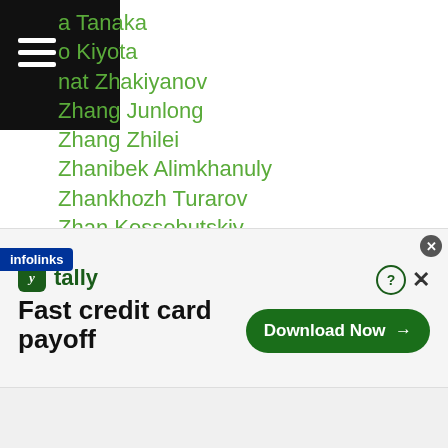a Tanaka
o Kiyota
nat Zhakiyanov
Zhang Junlong
Zhang Zhilei
Zhanibek Alimkhanuly
Zhankhozh Turarov
Zhan Kossobutskiy
Zhantil Omirbay
Zhimin Wang
Zhiyu Wu
Zirolian Riku
Zong Li He
Zoushiming
Zou Shiming
Zulipikaer Maimaitiali
r Maimaitiali
[Figure (screenshot): Advertisement banner for Tally app showing 'Fast credit card payoff' with a 'Download Now' button]